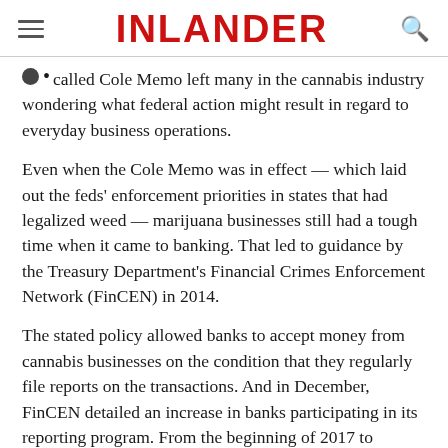INLANDER
called Cole Memo left many in the cannabis industry wondering what federal action might result in regard to everyday business operations.
Even when the Cole Memo was in effect — which laid out the feds' enforcement priorities in states that had legalized weed — marijuana businesses still had a tough time when it came to banking. That led to guidance by the Treasury Department's Financial Crimes Enforcement Network (FinCEN) in 2014.
The stated policy allowed banks to accept money from cannabis businesses on the condition that they regularly file reports on the transactions. And in December, FinCEN detailed an increase in banks participating in its reporting program. From the beginning of 2017 to September, 60 more banks opened their accounts to cannabis businesses, bringing the total number to 400.